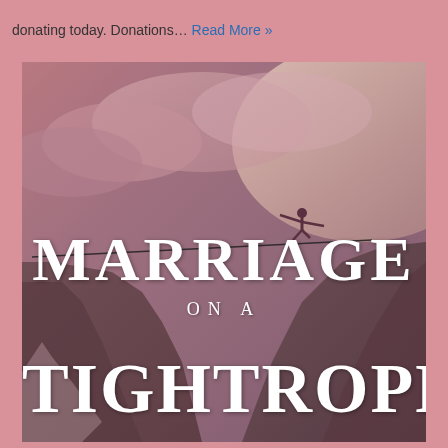donating today. Donations… Read More »
[Figure (illustration): Book cover for 'Marriage on a Tightrope' showing a silhouette of a person walking on a tightrope stretched between two rocky cliffs, with cloudy pink-purple sky background. Large white bold text reads 'MARRIAGE ON A TIGHTROPE'.]